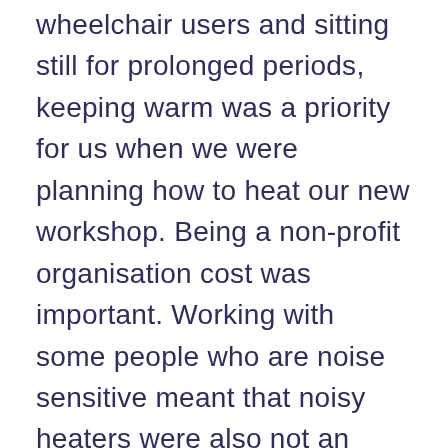wheelchair users and sitting still for prolonged periods, keeping warm was a priority for us when we were planning how to heat our new workshop. Being a non-profit organisation cost was important. Working with some people who are noise sensitive meant that noisy heaters were also not an option.      Then we came across IR heaters, and more importantly the Infrared Heater Company.
    It is one thing to find a solution that sounds like it fits the bill. It is another thing to then be able to communicate quickly, reliably and professionally with someone who can supply. They were also clearly